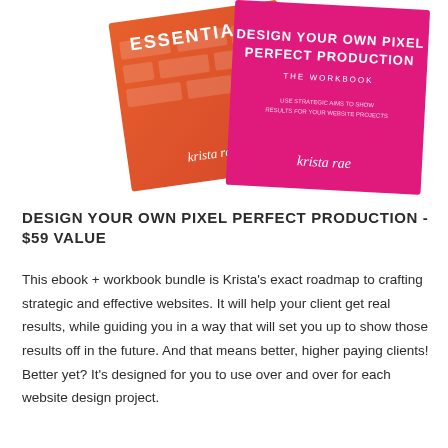[Figure (illustration): Two overlapping ebook/workbook covers. Left cover is orange with brick texture and script text 'ESSENTIALS' and 'Krista Rae'. Right cover is hot pink/magenta with text 'DESIGN YOUR OWN PIXEL PERFECT PRODUCTION THE WORKBOOK' and script 'Krista Rae'.]
DESIGN YOUR OWN PIXEL PERFECT PRODUCTION - $59 VALUE
This ebook + workbook bundle is Krista's exact roadmap to crafting strategic and effective websites. It will help your client get real results, while guiding you in a way that will set you up to show those results off in the future. And that means better, higher paying clients! Better yet? It's designed for you to use over and over for each website design project.